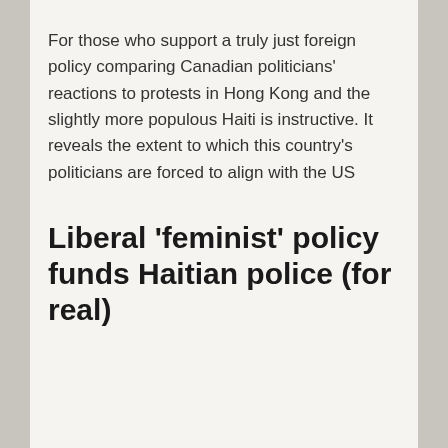For those who support a truly just foreign policy comparing Canadian politicians' reactions to protests in Hong Kong and the slightly more populous Haiti is instructive. It reveals the extent to which this country's politicians are forced to align with the US
Liberal ‘feminist’ policy funds Haitian police (for real)
An important component of Trudeau's international branding has been his government's purported “feminist foreign policy”. A recent aid contract to Haiti highlights the hollowness of these Liberal claims. Under its Feminist International Assistance Policy (FIAP) the Trudeau government has tendered a $12.5 million contract in operational support to the Haitian